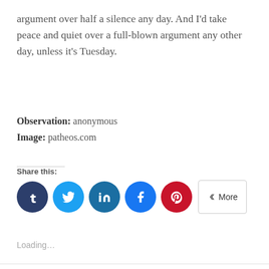argument over half a silence any day. And I'd take peace and quiet over a full-blown argument any other day, unless it's Tuesday.
Observation: anonymous
Image: patheos.com
Share this:
[Figure (infographic): Social share buttons: Tumblr (dark navy), Twitter (light blue), LinkedIn (dark blue), Facebook (blue), Pinterest (red), and a 'More' button]
Loading...